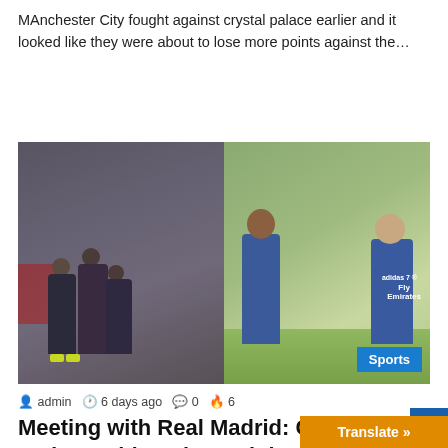MAnchester City fought against crystal palace earlier and it looked like they were about to lose more points against the…
Read More »
[Figure (photo): Composite of two football training photos: left shows Manchester United players training in foggy conditions; right shows two Real Madrid players (Casemiro and Ronaldo) smiling and pointing during a sunny training session wearing Fly Emirates blue kits. Sports label in bottom right.]
admin   6 days ago   0   6
Meeting with Real Madrid: Casemiro and Ronaldo enjoy training together in Manchester